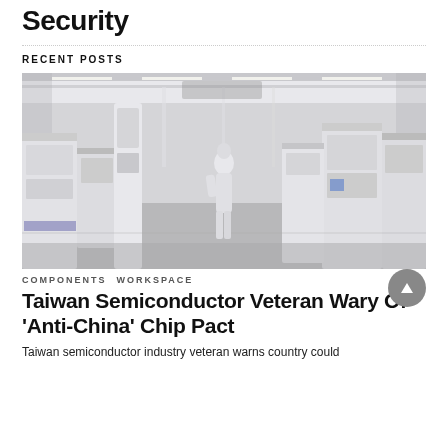Security
RECENT POSTS
[Figure (photo): Interior of a semiconductor clean room facility with a worker in protective suit walking between rows of white manufacturing equipment under bright ceiling lights.]
COMPONENTS   WORKSPACE
Taiwan Semiconductor Veteran Wary Of 'Anti-China' Chip Pact
Taiwan semiconductor industry veteran warns country could